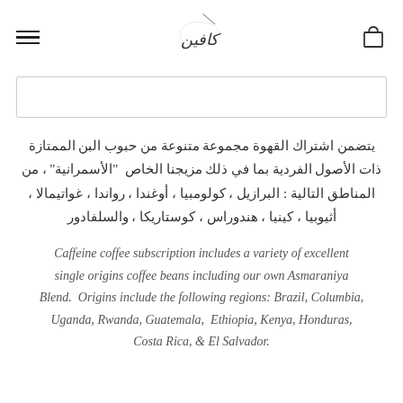Caffeine logo, hamburger menu, cart icon
[Figure (other): Empty white image/product placeholder box]
يتضمن اشتراك القهوة مجموعة متنوعة من حبوب البن الممتازة ذات الأصول الفردية بما في ذلك مزيجنا الخاص "الأسمرانية" ، من المناطق التالية : البرازيل ، كولومبيا ، أوغندا ، رواندا ، غواتيمالا ، أثيوبيا ، كينيا ، هندوراس ، كوستاريكا ، والسلفادور
Caffeine coffee subscription includes a variety of excellent single origins coffee beans including our own Asmaraniya Blend.  Origins include the following regions: Brazil, Columbia, Uganda, Rwanda, Guatemala,  Ethiopia, Kenya, Honduras, Costa Rica, & El Salvador.